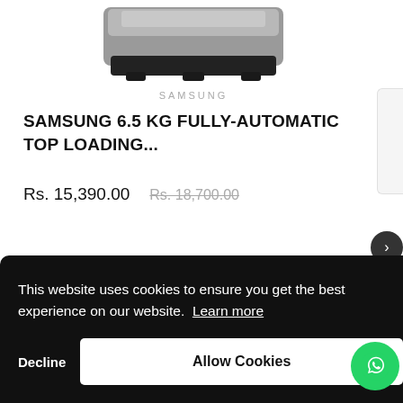[Figure (photo): Partial image of a Samsung top-loading washing machine, grey and black, viewed from above/front, cropped at top]
SAMSUNG
SAMSUNG 6.5 KG FULLY-AUTOMATIC TOP LOADING...
Rs. 15,390.00  Rs. 18,700.00
This website uses cookies to ensure you get the best experience on our website.  Learn more
Decline
Allow Cookies